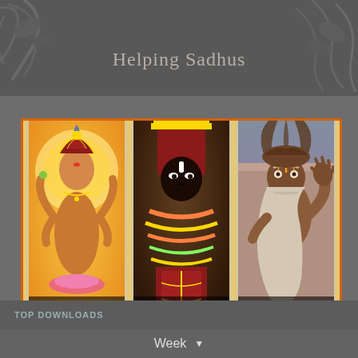[Figure (screenshot): Top dark banner with decorative plant/leaf imagery and the text 'Helping Sadhus']
[Figure (screenshot): Popup overlay with orange border on parchment/Sanskrit background. Contains three image cards: 'Who is the Hari Hara Avatar', 'The Secret History of Tirupati Balaji', 'Living Saints of India'. Below is an email signup form with 'Sign Up' button, text 'Sign up for our FREE daily email newsletter on Hinduism, Yoga, Meditation, Ayurveda and Natural Healing.' and a 'No thanks... Close this X' link.]
Sign up for our FREE daily email newsletter on
Hinduism, Yoga, Meditation, Ayurveda and Natural Healing.
No thanks... Close this
TOP DOWNLOADS
Week